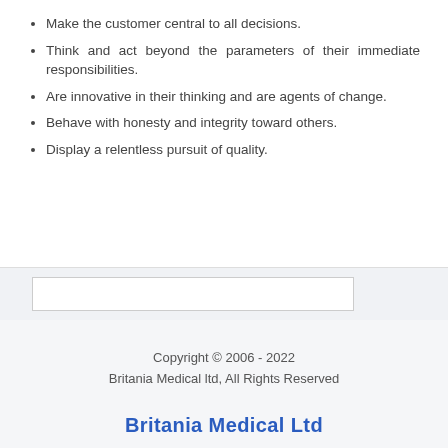Make the customer central to all decisions.
Think and act beyond the parameters of their immediate responsibilities.
Are innovative in their thinking and are agents of change.
Behave with honesty and integrity toward others.
Display a relentless pursuit of quality.
Copyright © 2006 - 2022
Britania Medical ltd, All Rights Reserved
Britania Medical ltd